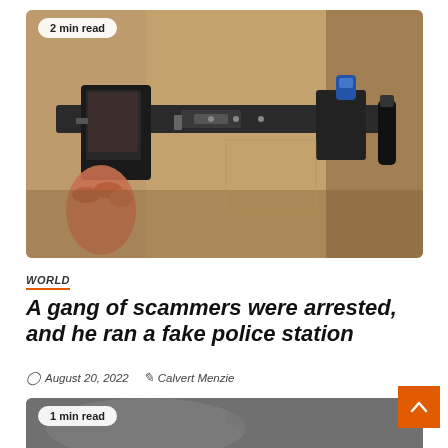[Figure (photo): Close-up photograph of a police officer's utility belt with holster, handcuffs, and other equipment, wearing a tan uniform. A '2 min read' badge overlays the top-left.]
WORLD
A gang of scammers were arrested, and he ran a fake police station
August 20, 2022   Calvert Menzie
[Figure (photo): Partially visible second article image, blurred/dark, with a '1 min read' badge.]